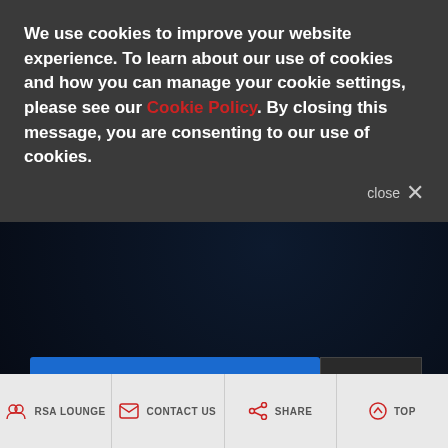We use cookies to improve your website experience. To learn about our use of cookies and how you can manage your cookie settings, please see our Cookie Policy. By closing this message, you are consenting to our use of cookies.
close ✕
[Figure (screenshot): reCAPTCHA widget with blue background showing 'protected by reCAPTCHA' text and Privacy - Terms links, with Google reCAPTCHA logo on the right]
SEND
[Figure (infographic): Footer navigation bar with four items: RSA LOUNGE, CONTACT US, SHARE, TOP, each with a red icon]